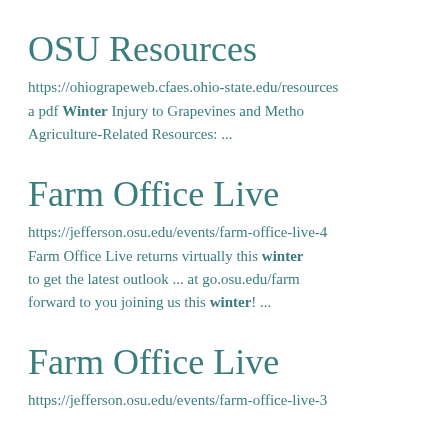OSU Resources
https://ohiograpeweb.cfaes.ohio-state.edu/resources a pdf Winter Injury to Grapevines and Metho Agriculture-Related Resources: ...
Farm Office Live
https://jefferson.osu.edu/events/farm-office-live-4 Farm Office Live returns virtually this winter to get the latest outlook ... at go.osu.edu/farm forward to you joining us this winter! ...
Farm Office Live
https://jefferson.osu.edu/events/farm-office-live-3